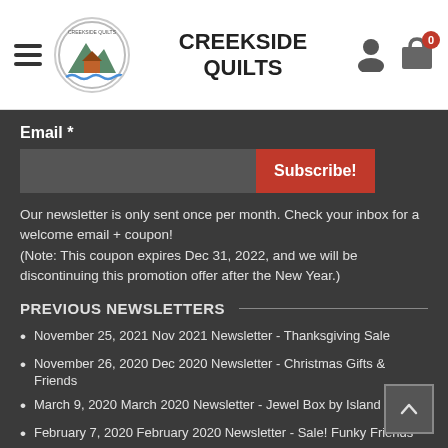CREEKSIDE QUILTS
Email *
Subscribe!
Our newsletter is only sent once per month. Check your inbox for a welcome email + coupon! (Note: This coupon expires Dec 31, 2022, and we will be discontinuing this promotion offer after the New Year.)
PREVIOUS NEWSLETTERS
November 25, 2021 Nov 2021 Newsletter - Thanksgiving Sale
November 26, 2020 Dec 2020 Newsletter - Christmas Gifts & Friends
March 9, 2020 March 2020 Newsletter - Jewel Box by Island Batik
February 7, 2020 February 2020 Newsletter - Sale! Funky Friends